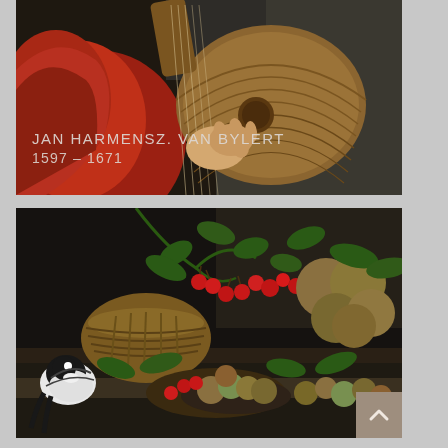[Figure (photo): Detail of a Dutch Golden Age painting showing a figure in red clothing playing a lute, with the instrument prominently displayed. Text overlay reads 'JAN HARMENSZ. VAN BYLERT 1597 – 1671'.]
JAN HARMENSZ. VAN BYLERT 1597 – 1671
[Figure (photo): Detail of a Dutch Golden Age still life painting showing a lavish arrangement of fruits including cherries, figs, and pears in a basket, accompanied by a bird (magpie or similar) on a ledge. Rich dark background typical of the period.]